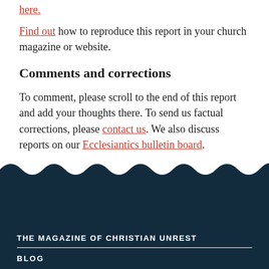here.
Find out how to reproduce this report in your church magazine or website.
Comments and corrections
To comment, please scroll to the end of this report and add your thoughts there. To send us factual corrections, please contact us. We also discuss reports on our Ecclesiantics bulletin board.
THE MAGAZINE OF CHRISTIAN UNREST
BLOG